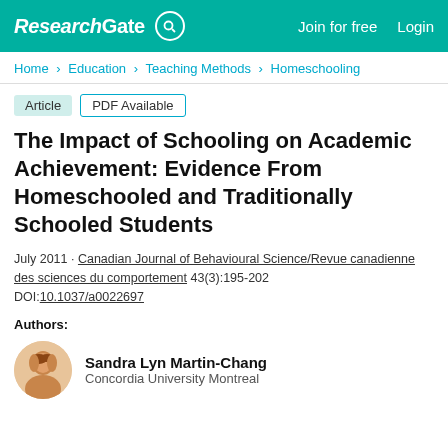ResearchGate  Join for free  Login
Home > Education > Teaching Methods > Homeschooling
Article  PDF Available
The Impact of Schooling on Academic Achievement: Evidence From Homeschooled and Traditionally Schooled Students
July 2011 · Canadian Journal of Behavioural Science/Revue canadienne des sciences du comportement 43(3):195-202
DOI:10.1037/a0022697
Authors:
Sandra Lyn Martin-Chang
Concordia University Montreal